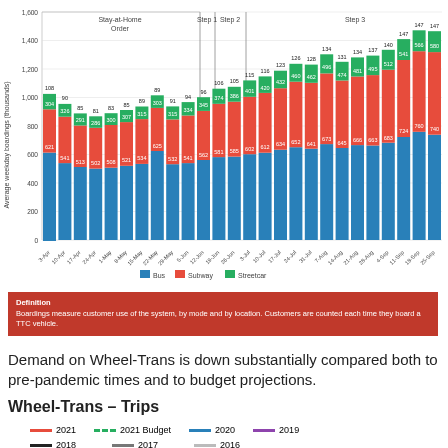[Figure (stacked-bar-chart): Average weekday boardings (thousands)]
Definition
Boardings measure customer use of the system, by mode and by location. Customers are counted each time they board a TTC vehicle.
Demand on Wheel-Trans is down substantially compared both to pre-pandemic times and to budget projections.
Wheel-Trans – Trips